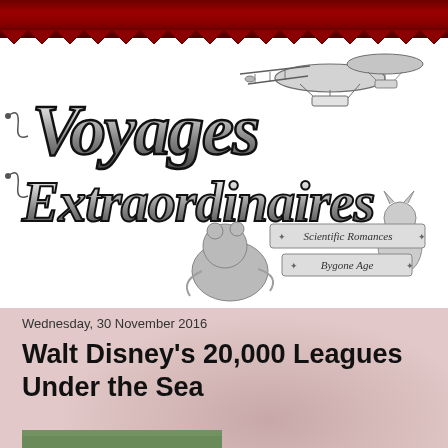Voyages Extraordinaires — Scientific Romances of a Bygone Age (blog header)
[Figure (logo): Voyages Extraordinaires logo with steampunk illustration — ornate text reading 'Voyages Extraordinaires' with biplane/airship imagery and bear figure, subtitle 'Scientific Romances of a Bygone Age']
Wednesday, 30 November 2016
Walt Disney's 20,000 Leagues Under the Sea
[Figure (photo): Partial thumbnail image of article illustration, partially visible at bottom of page]